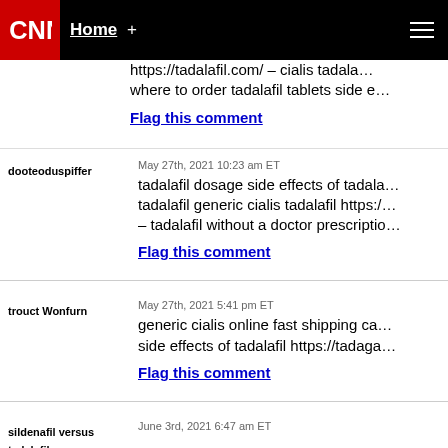CNN | Home +
https://tadalafil.com/ – cialis tadala… where to order tadalafil tablets side e…
Flag this comment
dooteoduspiffer
May 27th, 2021 10:23 am ET
tadalafil dosage side effects of tadala… tadalafil generic cialis tadalafil https:/… – tadalafil without a doctor prescriptio…
Flag this comment
trouct Wonfurn
May 27th, 2021 5:41 pm ET
generic cialis online fast shipping ca… side effects of tadalafil https://tadaga…
Flag this comment
sildenafil versus tadalafil
June 3rd, 2021 6:47 am ET